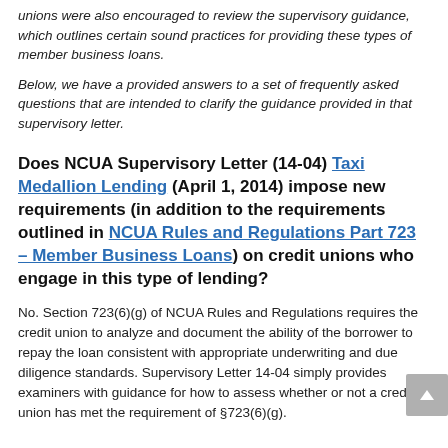unions were also encouraged to review the supervisory guidance, which outlines certain sound practices for providing these types of member business loans.
Below, we have a provided answers to a set of frequently asked questions that are intended to clarify the guidance provided in that supervisory letter.
Does NCUA Supervisory Letter (14-04) Taxi Medallion Lending (April 1, 2014) impose new requirements (in addition to the requirements outlined in NCUA Rules and Regulations Part 723 – Member Business Loans) on credit unions who engage in this type of lending?
No. Section 723(6)(g) of NCUA Rules and Regulations requires the credit union to analyze and document the ability of the borrower to repay the loan consistent with appropriate underwriting and due diligence standards. Supervisory Letter 14-04 simply provides examiners with guidance for how to assess whether or not a credit union has met the requirement of §723(6)(g).